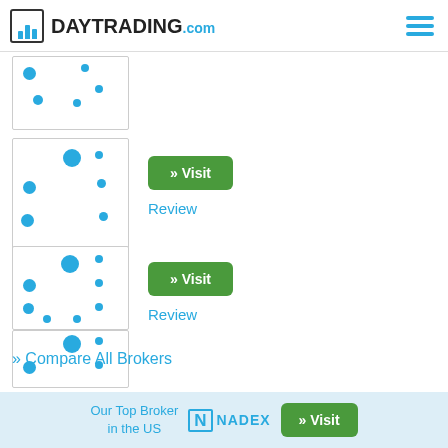DAYTRADING.com
[Figure (other): Broker rating scatter-dot placeholder box 1 (partially visible at top)]
[Figure (other): Broker rating scatter-dot placeholder box 2 with Visit button and Review link]
» Visit
Review
[Figure (other): Broker rating scatter-dot placeholder box 3 with Visit button and Review link]
» Visit
Review
» Compare All Brokers
Our Top Broker in the US   NADEX   » Visit